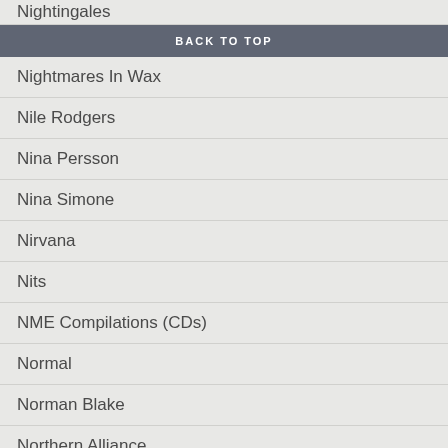Nightingales
BACK TO TOP
Nightmares In Wax
Nile Rodgers
Nina Persson
Nina Simone
Nirvana
Nits
NME Compilations (CDs)
Normal
Norman Blake
Northern Alliance
Northern Portrait
Northside
Nubiles